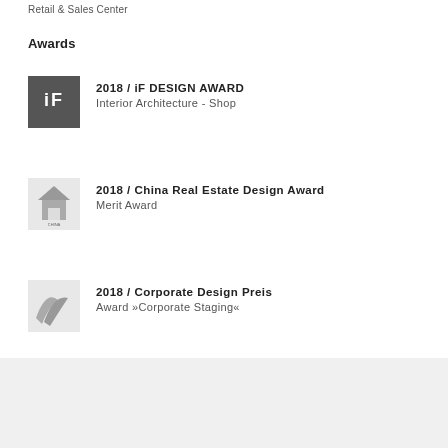Retail & Sales Center
Awards
2018 / iF DESIGN AWARD
Interior Architecture - Shop
2018 / China Real Estate Design Award
Merit Award
2018 / Corporate Design Preis
Award »Corporate Staging«